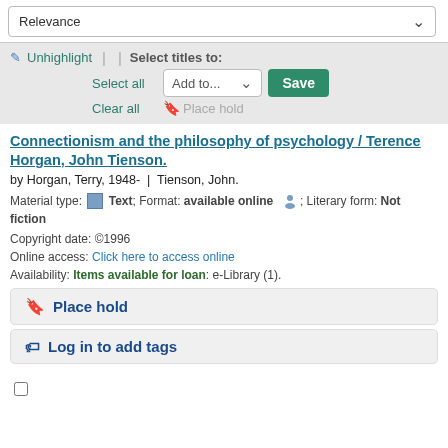Relevance
✏ Unhighlight | | Select titles to: Select all Add to... Save Clear all 🔖 Place hold
Connectionism and the philosophy of psychology / Terence Horgan, John Tienson.
by Horgan, Terry, 1948- | Tienson, John.
Material type: Text; Format: available online; Literary form: Not fiction
Copyright date: ©1996
Online access: Click here to access online
Availability: Items available for loan: e-Library (1).
🔖 Place hold
🏷 Log in to add tags